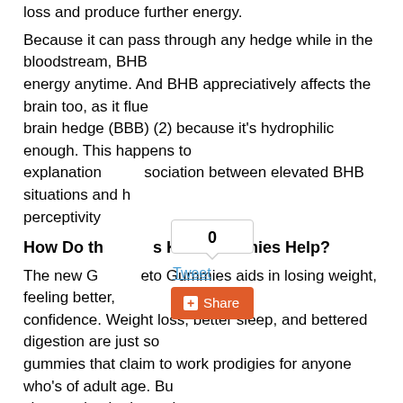loss and produce further energy.
Because it can pass through any hedge while in the bloodstream, BHB energy anytime. And BHB appreciatively affects the brain too, as it flue brain hedge (BBB) (2) because it's hydrophilic enough. This happens to explanation sociation between elevated BHB situations and h perceptivity
How Do th s Keto Gummies Help?
The new G eto Gummies aids in losing weight, feeling better, confidence. Weight loss, better sleep, and bettered digestion are just so gummies that claim to work prodigies for anyone who's of adult age. Bu short and point-by- point
Weight Loss
Gaining Further energy without feeling jittery
Burning fat in all problem areas similar as the shanks, the tummy, and t
Bettered brain health
Acceleratedpost-exercise recovery